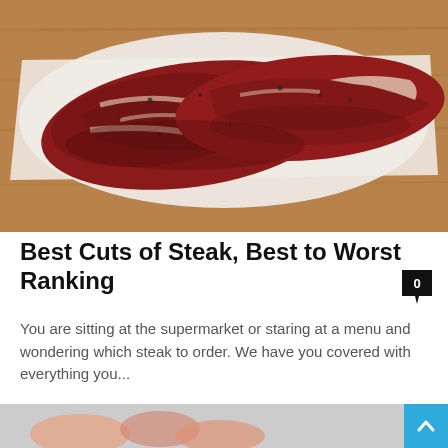[Figure (photo): Raw steak cuts (skirt or flank steak) seasoned with pepper, laid on white butcher paper on a wooden cutting board]
Best Cuts of Steak, Best to Worst Ranking
You are sitting at the supermarket or staring at a menu and wondering which steak to order. We have you covered with everything you...
Read more
[Figure (photo): Partially visible food photo at bottom of page]